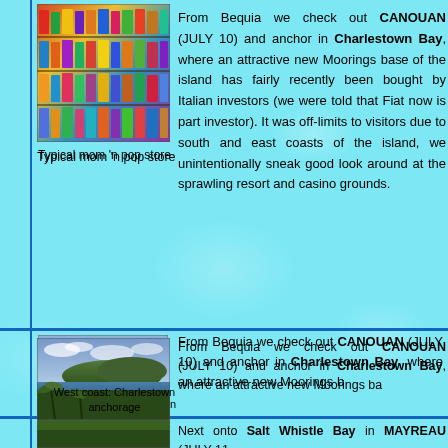[Figure (photo): Typical mom n pop store interior with colorful shelves of merchandise]
Typical mom 'n pop store
[Figure (photo): West coast: Charlestown anchorage - coastal panorama with palm trees and hills]
West coast: Charlestown anchorage
[Figure (photo): South coast: Tobago Cays, Mayreau, Union, Carriacou - turquoise water view]
South coast: Tobago Cays, Mayreau, Union, Carriacou
From Bequia we check out CANOUAN (JULY 10) and anchor in Charlestown Bay, where an attractive new Moorings base has been set up. Most of the island has fairly recently been bought by Italian investors (we were told that Fiat now is part investor). It was off-limits to visitors due to construction. Sailing around the south and east coasts of the island, we unintentionally snuck into the resort area and got a good look around at the sprawling resort and casino grounds.
[Figure (photo): Partial view of vegetation at bottom of page]
Next onto Salt Whistle Bay in MAYREAU (JULY 11